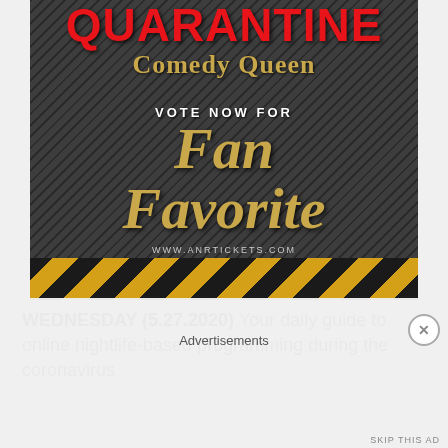[Figure (illustration): Promotional poster for 'Quarantine Comedy Queen' event on a dark textured background. Large red bold text reads 'Quarantine' at top, gold serif text reads 'Comedy Queen' below. Center text reads 'VOTE NOW FOR' in white uppercase, followed by large gold italic text 'Fan Favorite'. Bottom shows 'WWW.ANRTICKETS.COM' in small white text. Bottom of image has yellow and black hazard stripes.]
WEDNESDAY (5.27.2020) Your daily guide to online nightlife-based programming during the coronavirus
Advertisements